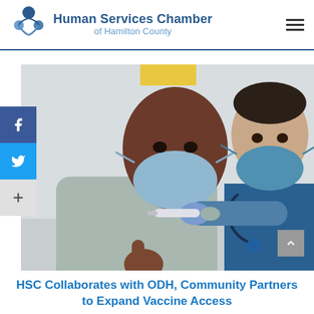Human Services Chamber of Hamilton County
[Figure (photo): A Black man wearing a light blue t-shirt and a blue surgical mask gives a thumbs up while a male healthcare worker in blue scrubs and a surgical mask administers a vaccine injection into his upper arm. The healthcare provider wears purple gloves and has a stethoscope around his neck.]
HSC Collaborates with ODH, Community Partners to Expand Vaccine Access